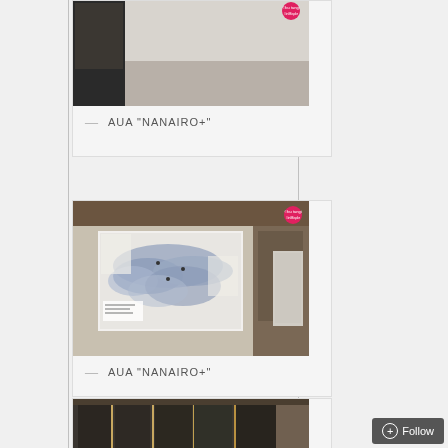[Figure (photo): Top card photo - partial view of art exhibition artwork]
— AUA "NANAIRO+"
[Figure (photo): Middle card photo - large map/artwork installation on gallery wall, light blue abstract map on white panels]
— AUA "NANAIRO+"
[Figure (photo): Bottom card photo - hanging dark translucent panels with light gold rods, interior gallery view]